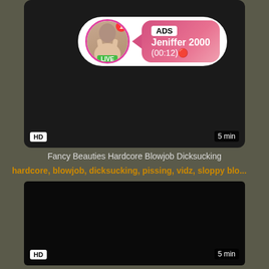[Figure (screenshot): Video thumbnail 1 - dark/black with HD badge, 5 min duration, and ad overlay showing Jeniffer 2000 live stream]
Fancy Beauties Hardcore Blowjob Dicksucking
hardcore, blowjob, dicksucking, pissing, vidz, sloppy blo...
[Figure (screenshot): Video thumbnail 2 - black/dark with HD badge and 5 min duration]
Moist Stepmoms Hardcore Milf Blowjob